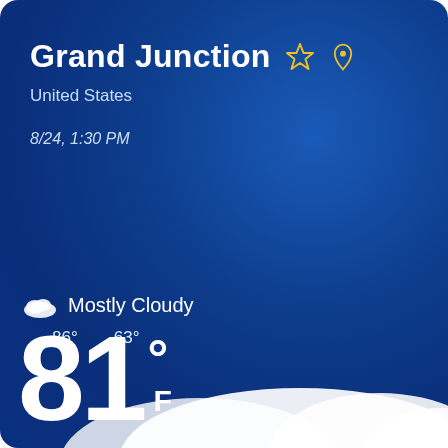Grand Junction
United States
8/24, 1:30 PM
Mostly Cloudy
86°    63°
81° F